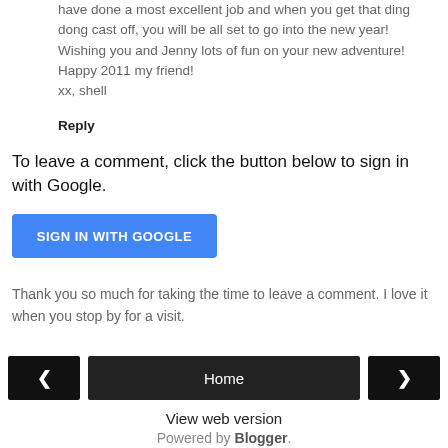have done a most excellent job and when you get that ding dong cast off, you will be all set to go into the new year! Wishing you and Jenny lots of fun on your new adventure! Happy 2011 my friend! xx, shell
Reply
To leave a comment, click the button below to sign in with Google.
[Figure (other): Blue 'SIGN IN WITH GOOGLE' button]
Thank you so much for taking the time to leave a comment. I love it when you stop by for a visit.
[Figure (other): Navigation bar with previous arrow button, Home button, and next arrow button]
View web version
Powered by Blogger.